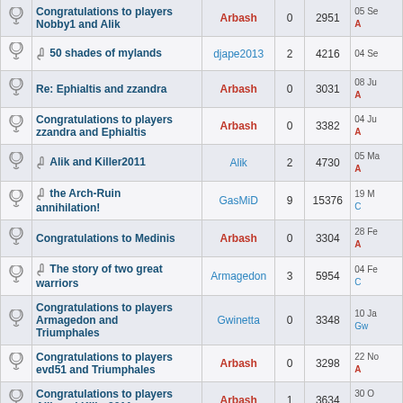|  | Topic | Author | Replies | Views | Last Post |
| --- | --- | --- | --- | --- | --- |
| 🔔 | Congratulations to players Nobby1 and Alik | Arbash | 0 | 2951 | 05 Se... A |
| 🔔 | 📎 50 shades of mylands | djape2013 | 2 | 4216 | 04 Se... |
| 🔔 | Re: Ephialtis and zzandra | Arbash | 0 | 3031 | 08 Ju... A |
| 🔔 | Congratulations to players zzandra and Ephialtis | Arbash | 0 | 3382 | 04 Ju... A |
| 🔔 | 📎 Alik and Killer2011 | Alik | 2 | 4730 | 05 Ma... A |
| 🔔 | 📎 the Arch-Ruin annihilation! | GasMiD | 9 | 15376 | 19 M... C |
| 🔔 | Congratulations to Medinis | Arbash | 0 | 3304 | 28 Fe... A |
| 🔔 | 📎 The story of two great warriors | Armagedon | 3 | 5954 | 04 Fe... C |
| 🔔 | Congratulations to players Armagedon and Triumphales | Gwinetta | 0 | 3348 | 10 Ja... Gw |
| 🔔 | Congratulations to players evd51 and Triumphales | Arbash | 0 | 3298 | 22 No... A |
| 🔔 | Congratulations to players Alik and Killer2011 | Arbash | 1 | 3634 | 30 O... o |
| 🔔 | 📎 The day that Leonoric... |  |  |  | 29 Se... |